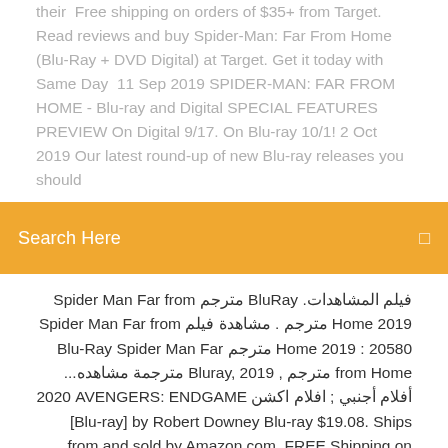their  Free shipping on orders of $35+ from Target. Read reviews and buy Spider-Man: Far From Home (Blu-Ray + DVD Digital) at Target. Get it today with Same Day  11 Sep 2019 SPIDER-MAN: FAR FROM HOME - Blu-ray and Digital SPECIAL FEATURES PREVIEW On Digital 9/17. On Blu-ray 10/1! 2 Oct 2019 Our latest round-up of new Blu-ray releases you should
Search Here
فيلم المشاهدات. BluRay مترجم Spider Man Far from Home 2019 مترجم . مشاهدة فيلم Spider Man Far from Home 2019 : 20580 مترجم Blu-Ray Spider Man Far from Home Bluray, 2019 , مترجمة مشاهده... أفلام أجنبي ; افلام اكشن 2020 AVENGERS: ENDGAME [Blu-ray] by Robert Downey Blu-ray $19.08. Ships from and sold by Amazon.com. FREE Shipping on orders over $25. Details. Joker (Blu-ray) by Joaquin Phoenix Blu-ray $13.57. Ships from and sold by movie_galoreandmore_store. What other items do customers buy after viewing this item? Spider-Man: